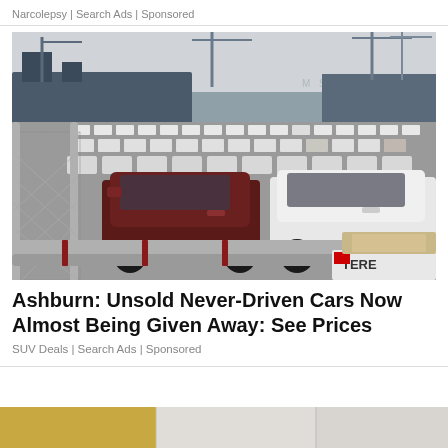Narcolepsy | Search Ads | Sponsored
[Figure (photo): Aerial view of a large car lot filled with hundreds of white and dark-colored Toyota FJ Cruiser SUVs parked in rows near a port with cargo ships and cranes in the background. A chain-link fence is visible in the foreground.]
Ashburn: Unsold Never-Driven Cars Now Almost Being Given Away: See Prices
SUV Deals | Search Ads | Sponsored
[Figure (photo): Partial view of another advertisement image at the bottom of the page, showing a yellow/gold and white background, partially visible.]